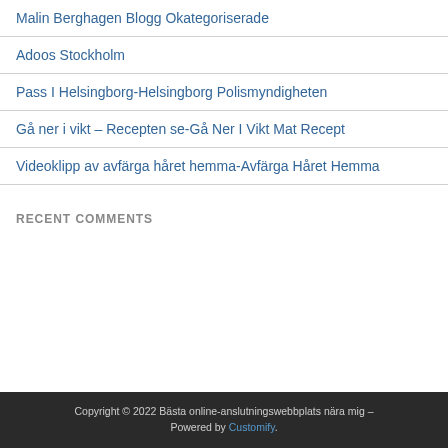Malin Berghagen Blogg Okategoriserade
Adoos Stockholm
Pass I Helsingborg-Helsingborg Polismyndigheten
Gå ner i vikt – Recepten se-Gå Ner I Vikt Mat Recept
Videoklipp av avfärga håret hemma-Avfärga Håret Hemma
RECENT COMMENTS
Copyright © 2022 Bästa online-anslutningswebbplats nära mig – Powered by Customify.